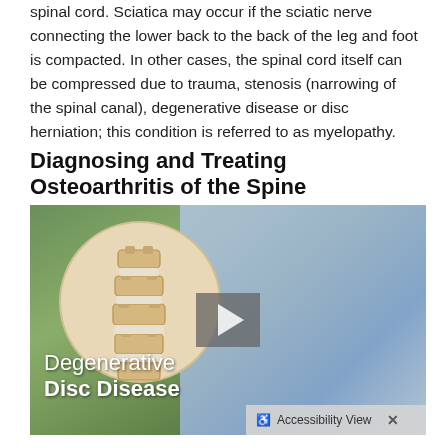spinal cord. Sciatica may occur if the sciatic nerve connecting the lower back to the back of the leg and foot is compacted. In other cases, the spinal cord itself can be compressed due to trauma, stenosis (narrowing of the spinal canal), degenerative disease or disc herniation; this condition is referred to as myelopathy.
Diagnosing and Treating Osteoarthritis of the Spine
[Figure (illustration): Video thumbnail showing an older woman holding her lower back outdoors with a circular spine anatomy illustration overlay. Text reads 'Degenerative Disc Disease' with a play button. An accessibility bar at the bottom reads 'Accessibility View X'.]